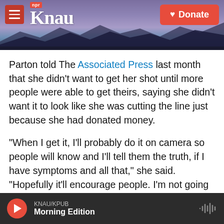[Figure (screenshot): KNAU NPR radio station website header with logo, hamburger menu button, NPR badge, and red Donate button, over a mountain landscape background]
Parton told The Associated Press last month that she didn't want to get her shot until more people were able to get theirs, saying she didn't want it to look like she was cutting the line just because she had donated money.
"When I get it, I'll probably do it on camera so people will know and I'll tell them the truth, if I have symptoms and all that," she said. "Hopefully it'll encourage people. I'm not going to jump the line just because I could."
Parton did a bit of narration during the video, at one
KNAU/KPUB Morning Edition